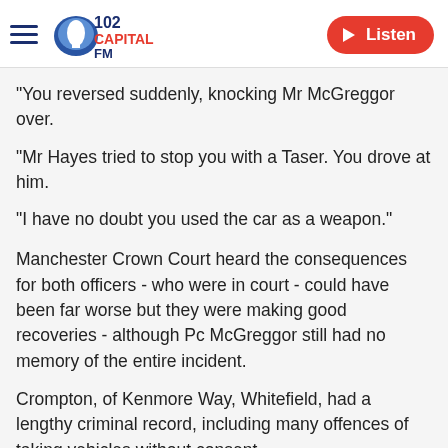102 Capital FM — Listen
"You reversed suddenly, knocking Mr McGreggor over.
"Mr Hayes tried to stop you with a Taser. You drove at him.
"I have no doubt you used the car as a weapon."
Manchester Crown Court heard the consequences for both officers - who were in court - could have been far worse but they were making good recoveries - although Pc McGreggor still had no memory of the entire incident.
Crompton, of Kenmore Way, Whitefield, had a lengthy criminal record, including many offences of taking vehicles without consent.
Judge Gilbart also banned Crompton from driving for seven years and ordered him to take an extended test before he could get behind the wheel again.